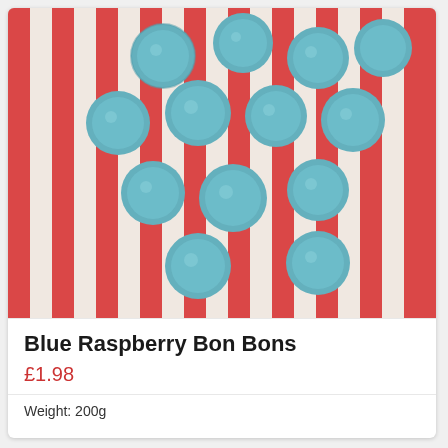[Figure (photo): Blue raspberry bon bons (round blue sugar-coated sweets) scattered on a red and white striped paper bag background]
Blue Raspberry Bon Bons
£1.98
Weight: 200g